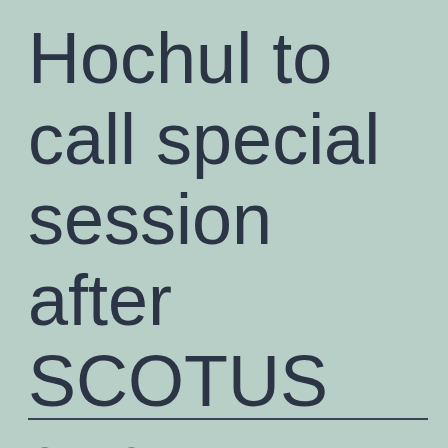Hochul to call special session after SCOTUS gun decision